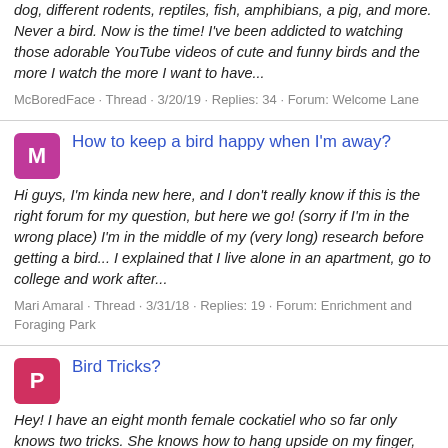dog, different rodents, reptiles, fish, amphibians, a pig, and more. Never a bird. Now is the time! I've been addicted to watching those adorable YouTube videos of cute and funny birds and the more I watch the more I want to have...
McBoredFace · Thread · 3/20/19 · Replies: 34 · Forum: Welcome Lane
How to keep a bird happy when I'm away?
Hi guys, I'm kinda new here, and I don't really know if this is the right forum for my question, but here we go! (sorry if I'm in the wrong place) I'm in the middle of my (very long) research before getting a bird... I explained that I live alone in an apartment, go to college and work after...
Mari Amaral · Thread · 3/31/18 · Replies: 19 · Forum: Enrichment and Foraging Park
Bird Tricks?
Hey! I have an eight month female cockatiel who so far only knows two tricks. She knows how to hang upside on my finger, and to fly to my shoulder when I whistle to her. I noticed that she has a LOT of fun when training (even though she's really stubborn and food driven ;laugh;), so do any of